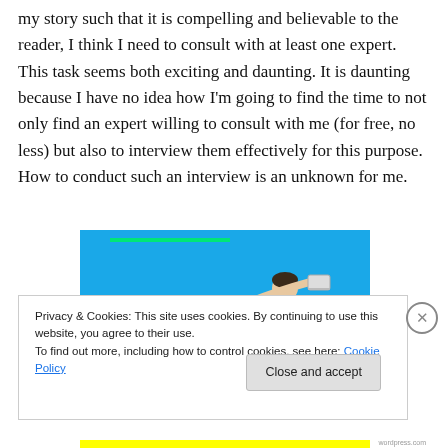my story such that it is compelling and believable to the reader, I think I need to consult with at least one expert. This task seems both exciting and daunting. It is daunting because I have no idea how I'm going to find the time to not only find an expert willing to consult with me (for free, no less) but also to interview them effectively for this purpose. How to conduct such an interview is an unknown for me.
[Figure (photo): Photo of a person in a white shirt and dark pants leaping/diving horizontally against a bright blue sky background, with a green bar overlay at the top of the image.]
Privacy & Cookies: This site uses cookies. By continuing to use this website, you agree to their use.
To find out more, including how to control cookies, see here: Cookie Policy